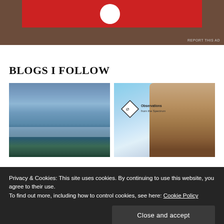[Figure (photo): Ad banner with red background and white circle logo element on dark brown background, with 'REPORT THIS AD' text]
BLOGS I FOLLOW
[Figure (photo): Landscape photo of a lake with mountains in the background, blue misty tones]
[Figure (photo): Person smiling wearing sunglasses outdoors with 'Observations from the Spectrum' badge/logo overlay]
Privacy & Cookies: This site uses cookies. By continuing to use this website, you agree to their use.
To find out more, including how to control cookies, see here: Cookie Policy
[Figure (photo): Bottom left thumbnail image, partially visible]
[Figure (photo): Bottom right thumbnail image, partially visible]